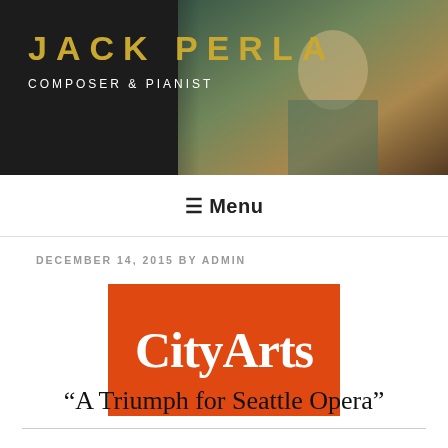JACK PERLA
COMPOSER & PIANIST
≡ Menu
DECEMBER 14, 2015 BY ADMIN
[Figure (logo): CityArts logo — white text on orange/red background rectangle]
“A Triumph for Seattle Opera”